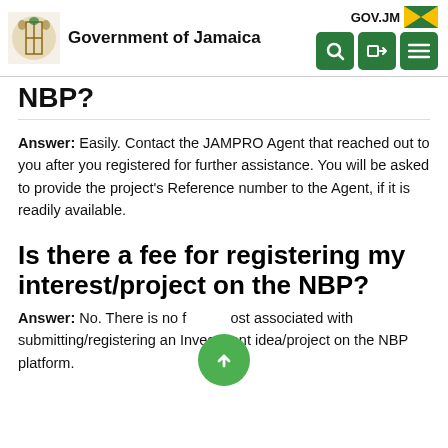Government of Jamaica | GOV.JM
NBP?
Answer: Easily. Contact the JAMPRO Agent that reached out to you after you registered for further assistance. You will be asked to provide the project's Reference number to the Agent, if it is readily available.
Is there a fee for registering my interest/project on the NBP?
Answer: No. There is no fee or cost associated with submitting/registering an Investment idea/project on the NBP platform.